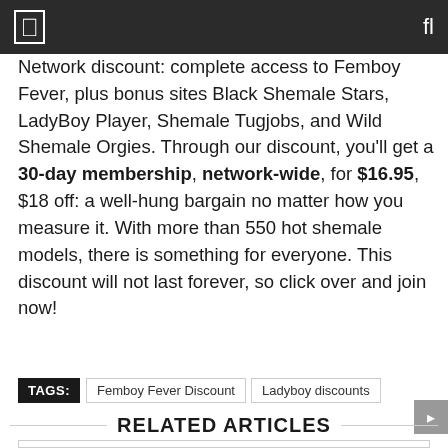Network discount: complete access to Femboy Fever, plus bonus sites Black Shemale Stars, LadyBoy Player, Shemale Tugjobs, and Wild Shemale Orgies. Through our discount, you'll get a 30-day membership, network-wide, for $16.95, $18 off: a well-hung bargain no matter how you measure it. With more than 550 hot shemale models, there is something for everyone. This discount will not last forever, so click over and join now!
TAGS: Femboy Fever Discount | Ladyboy discounts
RELATED ARTICLES